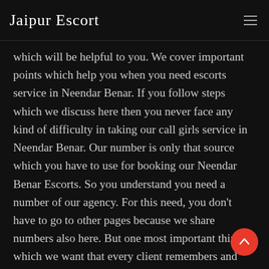Jaipur Escort
which will be helpful to you. We cover important points which help you when you need escorts service in Neendar Benar. If you follow steps which we discuss here then you never face any kind of difficulty in taking our call girls service in Neendar Benar. Our number is only that source which you have to use for booking our Neendar Benar Escorts. So you understand you need a number of our agency. For this need, you don't have to go to other pages because we share numbers also here. But one most important thing which we want that every client remembers and that is our term. The term of hiring escorts in Neendar Benar is not very complex. So the term is only 18 plus age clients can spend a moment with our escorts.